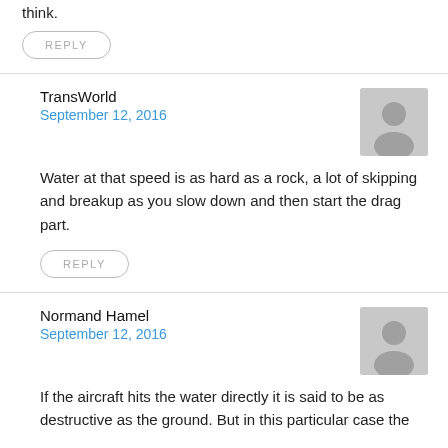think.
REPLY
TransWorld
September 12, 2016
Water at that speed is as hard as a rock, a lot of skipping and breakup as you slow down and then start the drag part.
REPLY
Normand Hamel
September 12, 2016
If the aircraft hits the water directly it is said to be as destructive as the ground. But in this particular case the